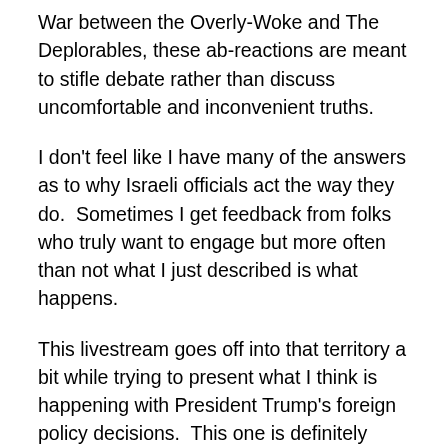War between the Overly-Woke and The Deplorables, these ab-reactions are meant to stifle debate rather than discuss uncomfortable and inconvenient truths.
I don't feel like I have many of the answers as to why Israeli officials act the way they do.  Sometimes I get feedback from folks who truly want to engage but more often than not what I just described is what happens.
This livestream goes off into that territory a bit while trying to present what I think is happening with President Trump's foreign policy decisions.  This one is definitely NSFW, so fair warning applies.
I had to go there because it is obvious that President